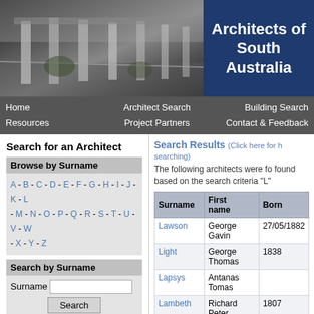[Figure (photo): Black and white photograph of modernist architecture with columns/pillars, combined with 'Architects of South Australia' title text on dark blue background]
Home   Architect Search   Building Search
Resources   Project Partners   Contact & Feedback
Search for an Architect
Browse by Surname
A - B - C - D - E - F - G - H - I - J - K - L - M - N - O - P - Q - R - S - T - U - V - W - X - Y - Z
Search by Surname
Surname [text input] Search
Geoff Harrison
Image courtesy Mrs Hillary Harrison
Search Results (Click here for help searching)
The following architects were found based on the search criteria "L"
| Surname | First name | Born |
| --- | --- | --- |
| Lawson | George Gavin | 27/05/1882 |
| Light | George Thomas | 1838 |
| Lapsys | Antanas Tomas |  |
| Lambeth | Richard Peter | 1807 |